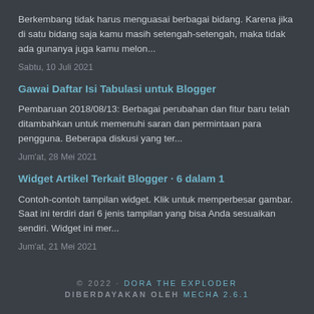Berkembang tidak harus menguasai berbagai bidang. Karena jika di satu bidang saja kamu masih setengah-setengah, maka tidak ada gunanya juga kamu melon...
Sabtu, 10 Juli 2021
Gawai Daftar Isi Tabulasi untuk Blogger
Pembaruan 2018/08/13: Berbagai perubahan dan fitur baru telah ditambahkan untuk memenuhi saran dan permintaan para pengguna. Beberapa diskusi yang ter...
Jum'at, 28 Mei 2021
Widget Artikel Terkait Blogger · 6 dalam 1
Contoh-contoh tampilan widget. Klik untuk memperbesar gambar. Saat ini terdiri dari 6 jenis tampilan yang bisa Anda sesuaikan sendiri. Widget ini mer...
Jum'at, 21 Mei 2021
© 2022 · DORA THE EXPLODER DIBERDAYAKAN OLEH MECHA 2.6.1